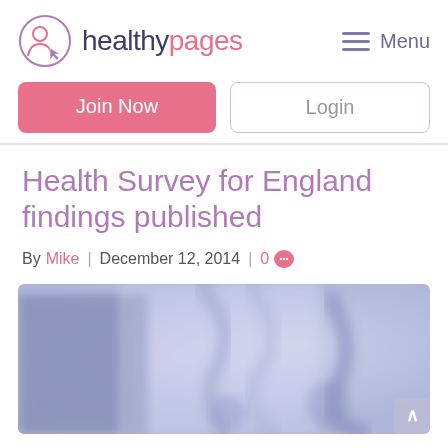healthy pages | Menu
Join Now | Login
Health Survey for England findings published
By Mike | December 12, 2014 | 0 comments
[Figure (photo): Blurred medical background image showing stethoscopes and medical equipment in blue/purple tones]